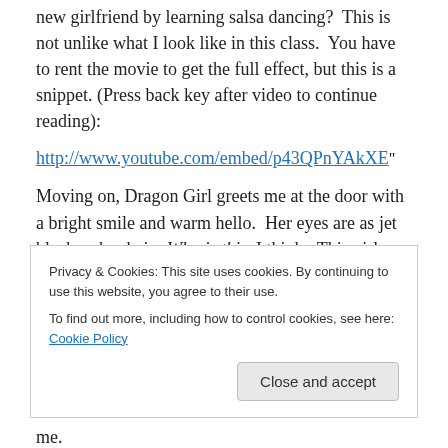new girlfriend by learning salsa dancing?  This is not unlike what I look like in this class.  You have to rent the movie to get the full effect, but this is a snippet. (Press back key after video to continue reading):
http://www.youtube.com/embed/p43QPnYAkXE"
Moving on, Dragon Girl greets me at the door with a bright smile and warm hello.  Her eyes are as jet black as her hair.  Who is this, I think.  This girl with the tattoo-covered body and piercings?  Then she goes up on the stage and somehow I sense that something is going to go awry. Uh
Privacy & Cookies: This site uses cookies. By continuing to use this website, you agree to their use.
To find out more, including how to control cookies, see here: Cookie Policy
me.